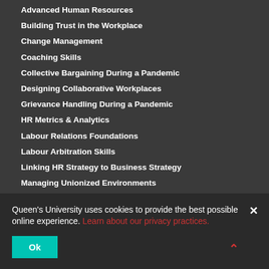Advanced Human Resources
Building Trust in the Workplace
Change Management
Coaching Skills
Collective Bargaining During a Pandemic
Designing Collaborative Workplaces
Grievance Handling During a Pandemic
HR Metrics & Analytics
Labour Relations Foundations
Labour Arbitration Skills
Linking HR Strategy to Business Strategy
Managing Unionized Environments
Mastering Fact-Finding & Investigation
Negotiation Skills
Organizational Design
Organizational Transformation
Organization Development Foundations
Performance Management
Strategies for...
Strategic Workforce Planning
Talent Management
Workplace Restoration
Queen's University uses cookies to provide the best possible online experience. Learn about our privacy practices.